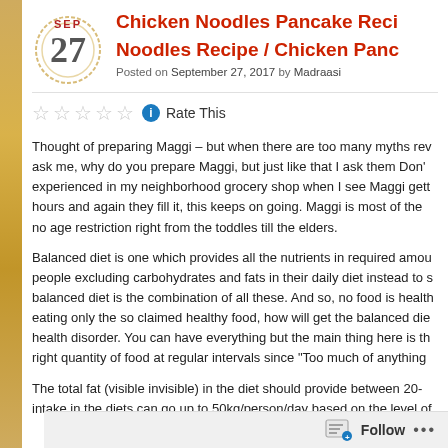Chicken Noodles Pancake Recipe / Noodles Recipe / Chicken Pancake
Posted on September 27, 2017 by Madraasi
Rate This
Thought of preparing Maggi – but when there are too many myths rev... ask me, why do you prepare Maggi, but just like that I ask them Don'... experienced in my neighborhood grocery shop when I see Maggi gett... hours and again they fill it, this keeps on going. Maggi is most of the... no age restriction right from the toddles till the elders.
Balanced diet is one which provides all the nutrients in required amou... people excluding carbohydrates and fats in their daily diet instead to s... balanced diet is the combination of all these. And so, no food is health... eating only the so claimed healthy food, how will get the balanced die... health disorder. You can have everything but the main thing here is th... right quantity of food at regular intervals since "Too much of anything...
The total fat (visible invisible) in the diet should provide between 20-... intake in the diets can go up to 50kg/person/day based on the level of...
Follow ...